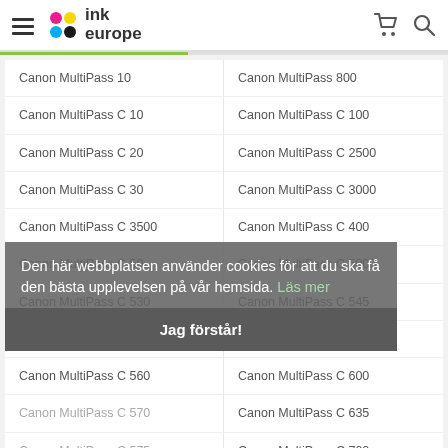ink europe (logo with hamburger menu, cart and search icons)
Canon MultiPass 10
Canon MultiPass 800
Canon MultiPass C 10
Canon MultiPass C 100
Canon MultiPass C 20
Canon MultiPass C 2500
Canon MultiPass C 30
Canon MultiPass C 3000
Canon MultiPass C 3500
Canon MultiPass C 400
Canon MultiPass C 50
Canon MultiPass C 5000
Canon MultiPass C 530
Canon MultiPass C 545
Canon MultiPass C 5500
Canon MultiPass C 555
Canon MultiPass C 560
Canon MultiPass C 600
Canon MultiPass C 570
Canon MultiPass C 635
Canon MultiPass C 575
Canon MultiPass C 700
Canon MultiPass C 730
Canon MultiPass C 735
Canon MultiPass C 75
Canon MultiPass C 755
Den här webbplatsen använder cookies för att du ska få den bästa upplevelsen på vår hemsida. Läs mer
Jag förstår!